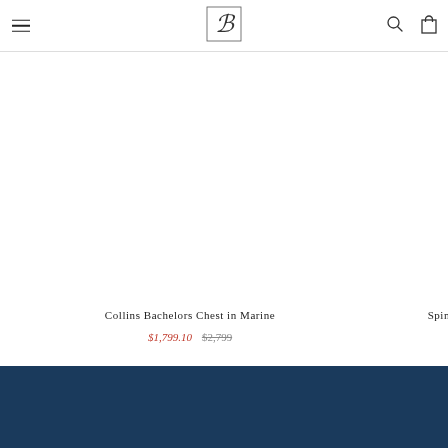Navigation bar with hamburger menu, B logo, search and cart icons
Collins Bachelors Chest in Marine
$1,799.10  $2,799
Spin
[Figure (logo): Stylized cursive B logo in a rectangular border for a furniture brand]